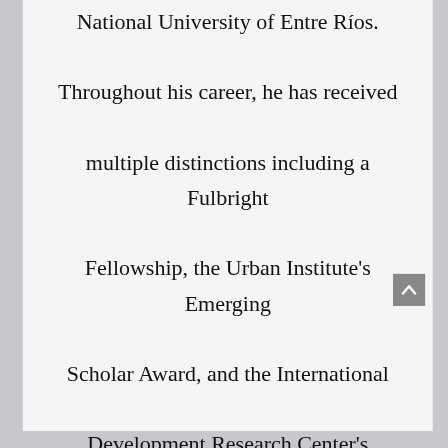National University of Entre Ríos. Throughout his career, he has received multiple distinctions including a Fulbright Fellowship, the Urban Institute's Emerging Scholar Award, and the International Development Research Center's Research Award. Guillermo holds a Ph.D. in Sociology from the University of Maryland, College Park.